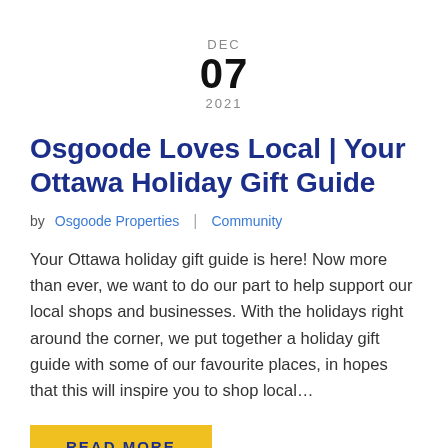DEC
07
2021
Osgoode Loves Local | Your Ottawa Holiday Gift Guide
by Osgoode Properties | Community
Your Ottawa holiday gift guide is here! Now more than ever, we want to do our part to help support our local shops and businesses. With the holidays right around the corner, we put together a holiday gift guide with some of our favourite places, in hopes that this will inspire you to shop local…
READ MORE